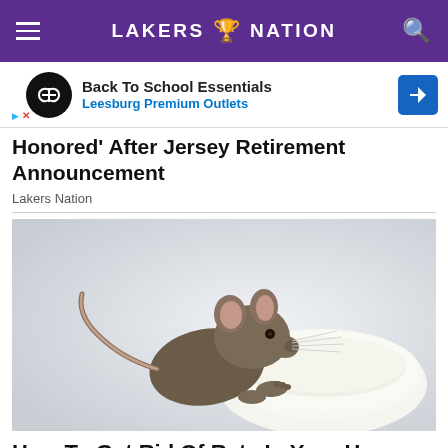LAKERS NATION
[Figure (other): Advertisement banner: Back To School Essentials - Leesburg Premium Outlets]
Honored' After Jersey Retirement Announcement
Lakers Nation
[Figure (photo): A small brown rat leaning over a white bowl filled with milk, on a white background]
How To Get Rid Of Rats In Your Home Fast